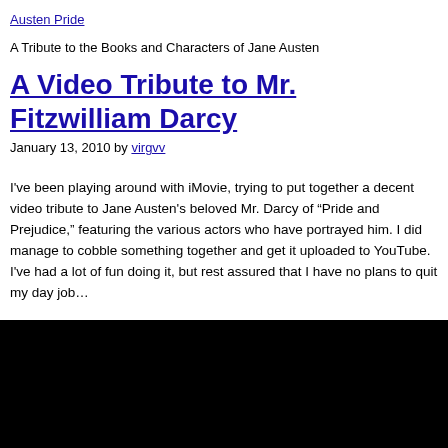Austen Pride
A Tribute to the Books and Characters of Jane Austen
A Video Tribute to Mr. Fitzwilliam Darcy
January 13, 2010 by virgvv
I've been playing around with iMovie, trying to put together a decent video tribute to Jane Austen's beloved Mr. Darcy of “Pride and Prejudice,” featuring the various actors who have portrayed him. I did manage to cobble something together and get it uploaded to YouTube. I've had a lot of fun doing it, but rest assured that I have no plans to quit my day job…
[Figure (other): Black video player embed area]